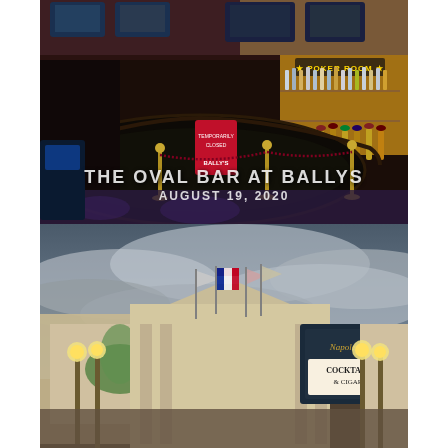[Figure (photo): Interior photo of The Oval Bar at Ballys casino, showing a curved dark bar counter, bar stools, shelves of liquor bottles, TV screens overhead, a 'POKER ROOM' sign in background, and a red Bally's sign on the bar counter. Velvet ropes on gold stanchions surround the bar. The bar appears closed/empty. Text overlay reads 'THE OVAL BAR AT BALLYS / AUGUST 19, 2020'.]
[Figure (photo): Exterior photo of what appears to be Paris Las Vegas or a French-themed casino exterior, showing ornate building facades with flags (including French tricolor), Napoleon's Cocktails & Cigars signage, street lamps, cloudy dramatic sky, and decorative architecture reminiscent of Paris.]